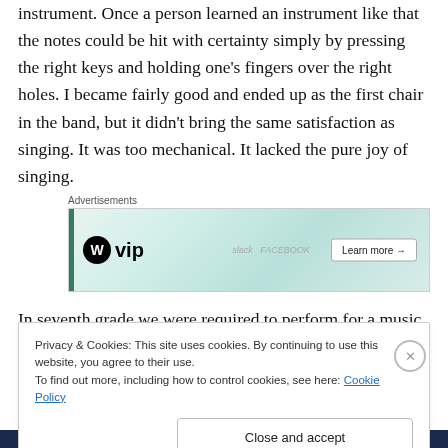instrument. Once a person learned an instrument like that the notes could be hit with certainty simply by pressing the right keys and holding one's fingers over the right holes. I became fairly good and ended up as the first chair in the band, but it didn't bring the same satisfaction as singing. It was too mechanical. It lacked the pure joy of singing.
[Figure (other): Advertisements banner showing WordPress VIP logo with colorful social media card background and Learn more button]
In seventh grade we were required to perform for a music
Privacy & Cookies: This site uses cookies. By continuing to use this website, you agree to their use.
To find out more, including how to control cookies, see here: Cookie Policy
Close and accept